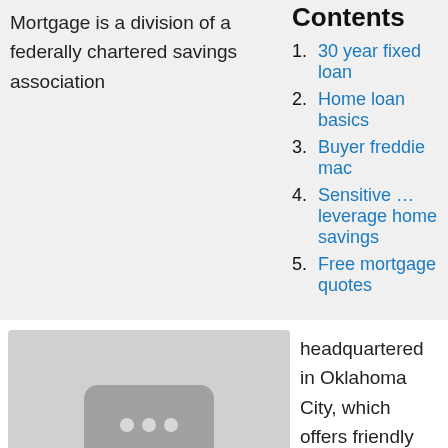Mortgage is a division of a federally chartered savings association
Contents
1. 30 year fixed loan
2. Home loan basics
3. Buyer freddie mac
4. Sensitive … leverage home savings
5. Free mortgage quotes
[Figure (photo): Image placeholder with three dots icon]
headquartered in Oklahoma City, which offers friendly service to customers nationwide.
Marine Midland Bank yesterday lowered its rate on adjustable-rate mortgages to 14 percent, plus a one-time charge of 2 percent, from the previous rate of 15 percent, plus a one-time charge of 2